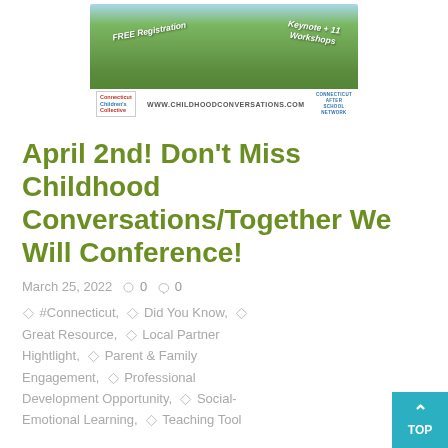[Figure (illustration): Conference banner image showing a green grass field with blue sky. Text overlays: 'FREE Registration' on the left (rotated), 'Keynote + 11 Workshops' on the right (rotated). Bottom bar shows Connecticut Children's Collective logo, 'WWW.CHILDHOODCONVERSATIONS.COM', and Connecticut After School Network logo.]
April 2nd! Don't Miss Childhood Conversations/Together We Will Conference!
March 25, 2022   ♡ 0   ○ 0
◇ #Connecticut, ◇ Did You Know, ◇ Great Resource, ◇ Local Partner Hightlight, ◇ Parent & Family Engagement, ◇ Professional Development Opportunity, ◇ Social-Emotional Learning, ◇ Teaching Tool